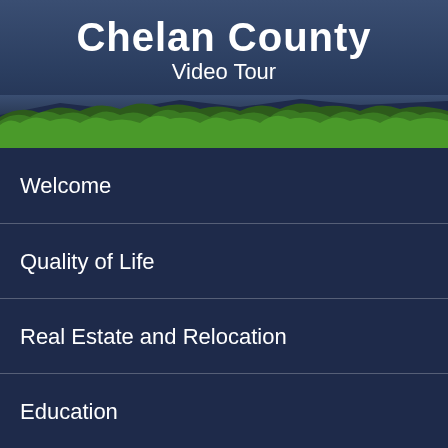Chelan County Video Tour
[Figure (photo): Aerial view of forested green landscape with trees, natural scenery of Chelan County]
Welcome
Quality of Life
Real Estate and Relocation
Education
Tourism and Attractions
Business and Agriculture